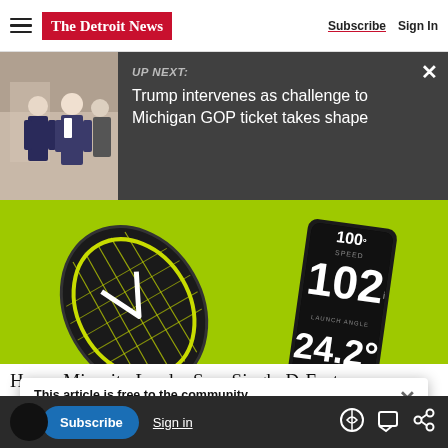The Detroit News — Subscribe | Sign In
UP NEXT: Trump intervenes as challenge to Michigan GOP ticket takes shape
[Figure (photo): Advertisement image showing a tennis racket and a smartphone displaying speed metrics: 102 mph speed and 24.2 degrees launch angle, on a lime green background]
This article is free to the community. $22 for 2 Years. Subscribe now
House Minority Leader Sam Singh, D-East...